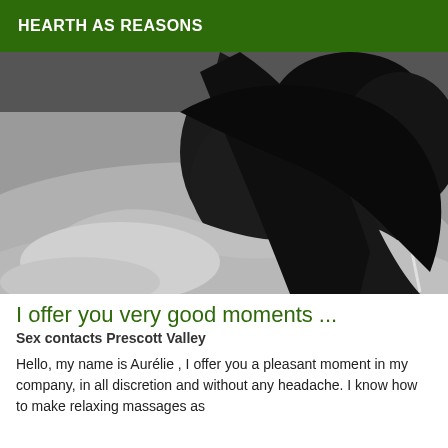HEARTH AS REASONS
[Figure (photo): Black and white close-up photograph of hands performing a massage on a person's back]
I offer you very good moments ...
Sex contacts Prescott Valley
Hello, my name is Aurélie , I offer you a pleasant moment in my company, in all discretion and without any headache. I know how to make relaxing massages as